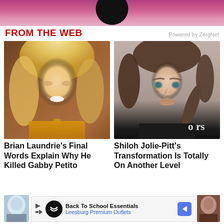[Figure (photo): Partial top image showing a person with pink/magenta hair, cropped at top of page]
FROM THE WEB
Powered by ZergNet
[Figure (photo): Young woman with blonde hair smiling outdoors against brown background, wearing yellow top]
Brian Laundrie's Final Words Explain Why He Killed Gabby Petito
[Figure (photo): Young woman with brown hair up, blue/green eyes, light makeup, dark top, 'ors' text partially visible at bottom right]
Shiloh Jolie-Pitt's Transformation Is Totally On Another Level
[Figure (photo): Partial bottom-left image of a person with blue/light background]
[Figure (photo): Partial bottom-right image of a dark-skinned person]
Back To School Essentials
Leesburg Premium Outlets